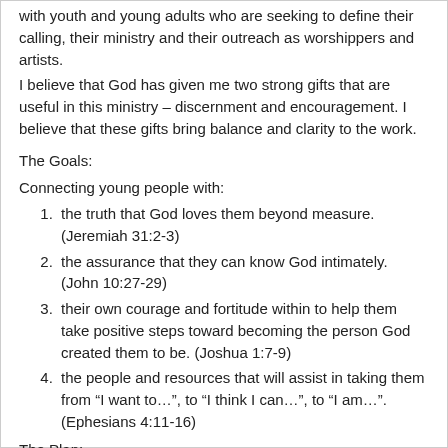with youth and young adults who are seeking to define their calling, their ministry and their outreach as worshippers and artists.
I believe that God has given me two strong gifts that are useful in this ministry – discernment and encouragement. I believe that these gifts bring balance and clarity to the work.
The Goals:
Connecting young people with:
the truth that God loves them beyond measure. (Jeremiah 31:2-3)
the assurance that they can know God intimately. (John 10:27-29)
their own courage and fortitude within to help them take positive steps toward becoming the person God created them to be. (Joshua 1:7-9)
the people and resources that will assist in taking them from “I want to…”, to “I think I can…”, to “I am…”. (Ephesians 4:11-16)
The Plan: